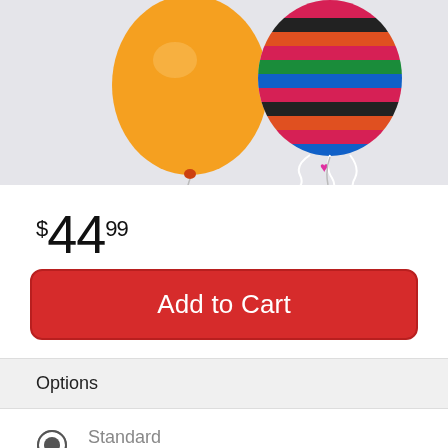[Figure (photo): Product photo showing an orange balloon and a colorful striped mylar balloon against a light gray background]
$44.99
Add to Cart
Options
Standard
$44.99
Deluxe
$59.99